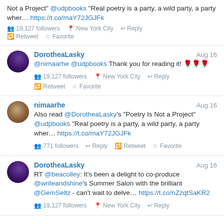Not a Project" @udpbooks "Real poetry is a party, a wild party, a party wher… https://t.co/maY72JGJFk
19,127 followers  New York City  Reply  Retweet  Favorite
DorotheaLasky  Aug 16
@nimaarhe @udpbooks Thank you for reading it! 🌹🌹🌹
19,127 followers  New York City  Reply  Retweet  Favorite
nimaarhe  Aug 16
Also read @DorotheaLasky's "Poetry Is Not a Project" @udpbooks "Real poetry is a party, a wild party, a party wher… https://t.co/maY72JGJFk
771 followers  Reply  Retweet  Favorite
DorotheaLasky  Aug 16
RT @beacolley: It's been a delight to co-produce @writeandshine's Summer Salon with the brilliant @GemSeltz - can't wait to delve… https://t.co/nZzqtSaKR2
19,127 followers  New York City  Reply